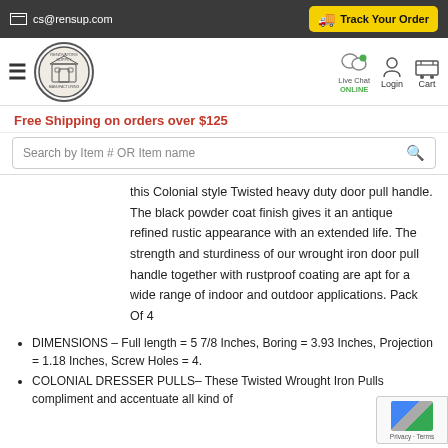cs@rensup.com | Track Your Order
[Figure (logo): Renovators Supply Manufacturing circular logo with building illustration]
Live Chat ONLINE | Login | Cart
Free Shipping on orders over $125
Search by Item # OR Item name
this Colonial style Twisted heavy duty door pull handle. The black powder coat finish gives it an antique refined rustic appearance with an extended life. The strength and sturdiness of our wrought iron door pull handle together with rustproof coating are apt for a wide range of indoor and outdoor applications. Pack Of 4
DIMENSIONS – Full length = 5 7/8 Inches, Boring = 3.93 Inches, Projection = 1.18 Inches, Screw Holes = 4.
COLONIAL DRESSER PULLS– These Twisted Wrought Iron Pulls compliment and accentuate all kind of